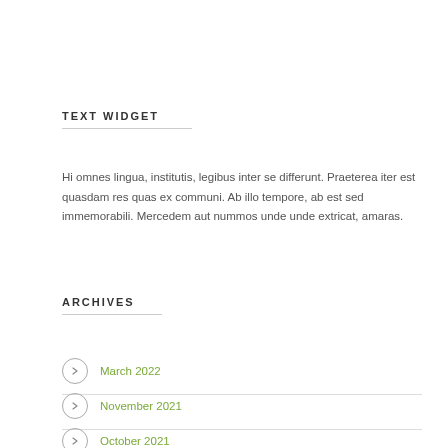TEXT WIDGET
Hi omnes lingua, institutis, legibus inter se differunt. Praeterea iter est quasdam res quas ex communi. Ab illo tempore, ab est sed immemorabili. Mercedem aut nummos unde unde extricat, amaras.
ARCHIVES
March 2022
November 2021
October 2021